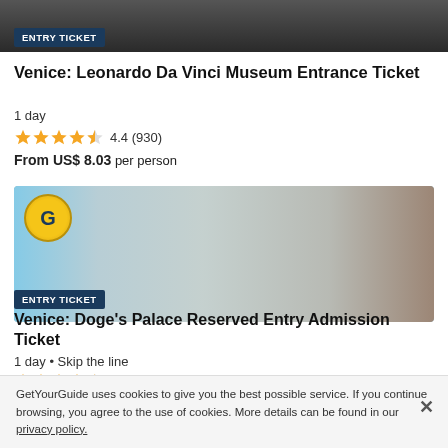[Figure (photo): Dark indoor photo strip at the top of the page]
ENTRY TICKET
Venice: Leonardo Da Vinci Museum Entrance Ticket
1 day
4.4 (930)
From US$ 8.03 per person
[Figure (photo): Photo of Venice Doge's Palace exterior with Gothic arches, blue sky, and a GetYourGuide G badge overlay]
ENTRY TICKET
Venice: Doge's Palace Reserved Entry Admission Ticket
1 day • Skip the line
4.6 (10,871)
GetYourGuide uses cookies to give you the best possible service. If you continue browsing, you agree to the use of cookies. More details can be found in our privacy policy.